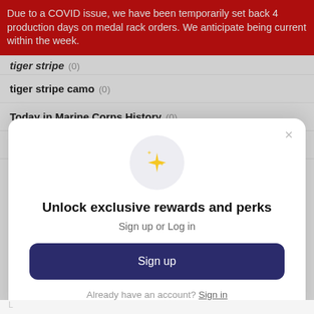Due to a COVID issue, we have been temporarily set back 4 production days on medal rack orders. We anticipate being current within the week.
tiger stripe (0)
tiger stripe camo (0)
Today in Marine Corps History (0)
today in military history (0)
[Figure (screenshot): Popup modal: sparkle emoji icon, 'Unlock exclusive rewards and perks' heading, 'Sign up or Log in' subtitle, dark navy Sign up button, 'Already have an account? Sign in' link, and X close button.]